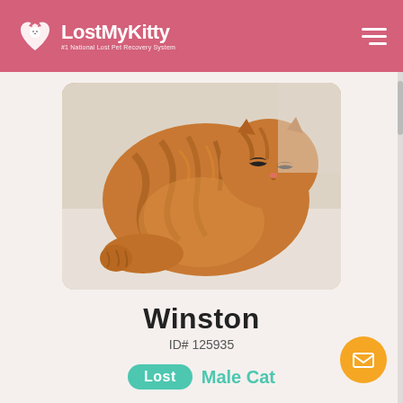LostMyKitty — #1 National Lost Pet Recovery System
[Figure (photo): Orange tabby cat lying on a light surface, viewed from above/side, eyes partially closed, fluffy fur with tabby stripes]
Winston
ID# 125935
Lost  Male Cat
Anaheim, CA